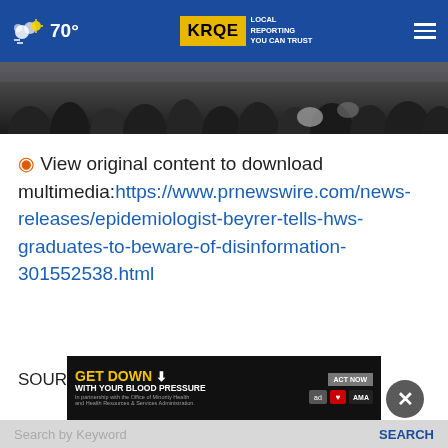☁ 70° | KRQE LOCAL REPORTING YOU CAN TRUST
[Figure (photo): Back of heads of a crowd of people at a graduation or indoor event, darkened photo strip]
◉ View original content to download multimedia:https://www.prnewswire.com/news-releases/epidemiologist-beyrer-tells-hws-graduates-to-beware-of-disinformation-301552538.html
SOURCE Hobart and William Smith Colleges
[Figure (infographic): Advertisement banner: GET DOWN WITH YOUR BLOOD PRESSURE - ACT NOW - with ad council, American Heart Association, and AMA logos]
Search by Keyword | SEARCH